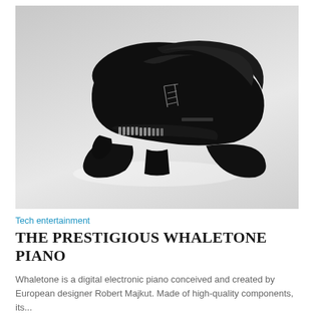[Figure (photo): A sleek black Whaletone digital electronic piano with futuristic curved design, photographed on a light gray gradient background. The piano has an organic whale-like shape with sweeping curved legs and a raised lid, viewed from a three-quarter angle.]
Tech entertainment
THE PRESTIGIOUS WHALETONE PIANO
Whaletone is a digital electronic piano conceived and created by European designer Robert Majkut. Made of high-quality components, its...